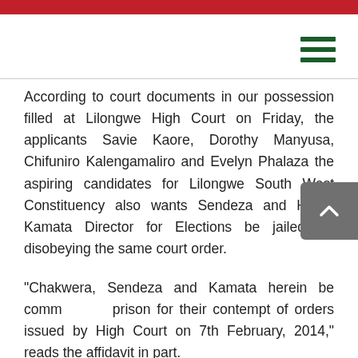According to court documents in our possession filled at Lilongwe High Court on Friday,  the applicants Savie Kaore, Dorothy Manyusa, Chifuniro Kalengamaliro and Evelyn Phalaza the aspiring candidates for Lilongwe South West Constituency  also wants Sendeza and Henry Kamata Director for Elections be jailed for disobeying the same court order.
“Chakwera, Sendeza and Kamata herein be comm... prison for their contempt of orders issued by High Court on 7th February, 2014,” reads the affidavit in part.